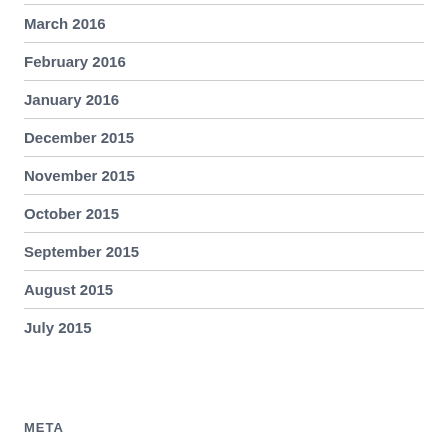March 2016
February 2016
January 2016
December 2015
November 2015
October 2015
September 2015
August 2015
July 2015
META